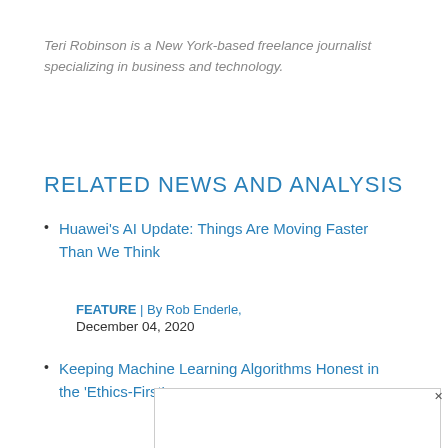Teri Robinson is a New York-based freelance journalist specializing in business and technology.
RELATED NEWS AND ANALYSIS
Huawei's AI Update: Things Are Moving Faster Than We Think
FEATURE |  By Rob Enderle,
December 04, 2020
Keeping Machine Learning Algorithms Honest in the 'Ethics-First'